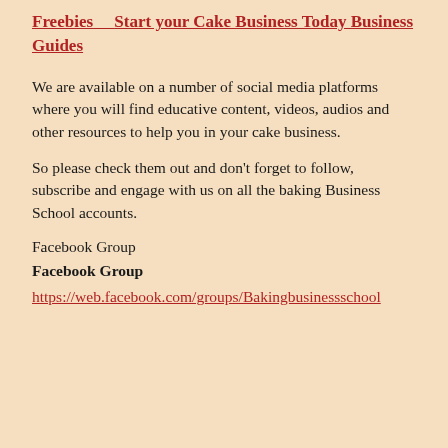Freebies   Start your Cake Business Today Business Guides
We are available on a number of social media platforms where you will find educative content, videos, audios and other resources to help you in your cake business.
So please check them out and don't forget to follow, subscribe and engage with us on all the baking Business School accounts.
Facebook Group
Facebook Group
https://web.facebook.com/groups/Bakingbusinessschool